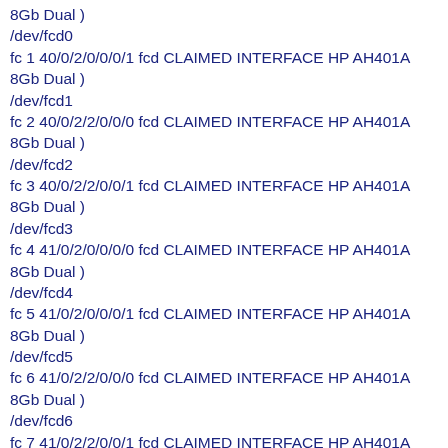8Gb Dual )
/dev/fcd0
fc 1 40/0/2/0/0/0/1 fcd CLAIMED INTERFACE HP AH401A 8Gb Dual )
/dev/fcd1
fc 2 40/0/2/2/0/0/0 fcd CLAIMED INTERFACE HP AH401A 8Gb Dual )
/dev/fcd2
fc 3 40/0/2/2/0/0/1 fcd CLAIMED INTERFACE HP AH401A 8Gb Dual )
/dev/fcd3
fc 4 41/0/2/0/0/0/0 fcd CLAIMED INTERFACE HP AH401A 8Gb Dual )
/dev/fcd4
fc 5 41/0/2/0/0/0/1 fcd CLAIMED INTERFACE HP AH401A 8Gb Dual )
/dev/fcd5
fc 6 41/0/2/2/0/0/0 fcd CLAIMED INTERFACE HP AH401A 8Gb Dual )
/dev/fcd6
fc 7 41/0/2/2/0/0/1 fcd CLAIMED INTERFACE HP AH401A 8Gb Dual )